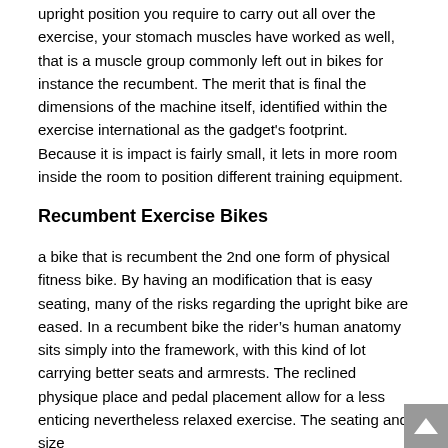upright position you require to carry out all over the exercise, your stomach muscles have worked as well, that is a muscle group commonly left out in bikes for instance the recumbent. The merit that is final the dimensions of the machine itself, identified within the exercise international as the gadget's footprint. Because it is impact is fairly small, it lets in more room inside the room to position different training equipment.
Recumbent Exercise Bikes
a bike that is recumbent the 2nd one form of physical fitness bike. By having an modification that is easy seating, many of the risks regarding the upright bike are eased. In a recumbent bike the rider's human anatomy sits simply into the framework, with this kind of lot carrying better seats and armrests. The reclined physique place and pedal placement allow for a less enticing nevertheless relaxed exercise. The seating and size